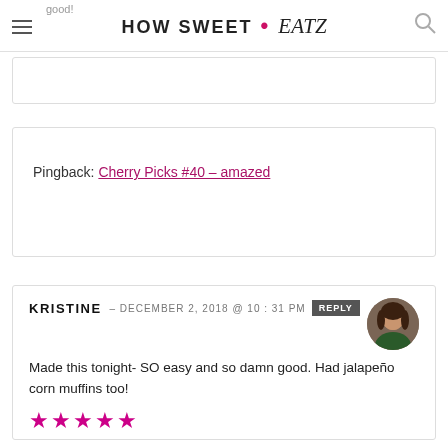HOW SWEET eats
Pingback: Cherry Picks #40 - amazed
KRISTINE — DECEMBER 2, 2018 @ 10:31 PM  REPLY
Made this tonight- SO easy and so damn good. Had jalapeño corn muffins too!
★★★★★